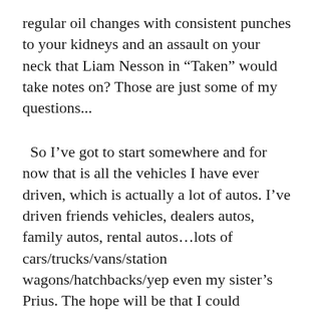regular oil changes with consistent punches to your kidneys and an assault on your neck that Liam Nesson in “Taken” would take notes on? Those are just some of my questions...
So I’ve got to start somewhere and for now that is all the vehicles I have ever driven, which is actually a lot of autos. I’ve driven friends vehicles, dealers autos, family autos, rental autos…lots of cars/trucks/vans/station wagons/hatchbacks/yep even my sister’s Prius. The hope will be that I could approach a company like “Carmax” and get permission to test drive vans, cars, trucks, SUV’s, hybrids, electrics and the occasional sports car and then post a Normal person relevant review about it. Currently I’m trying to figure out some of the parameters that I would evaluate. There are the normal ones like power